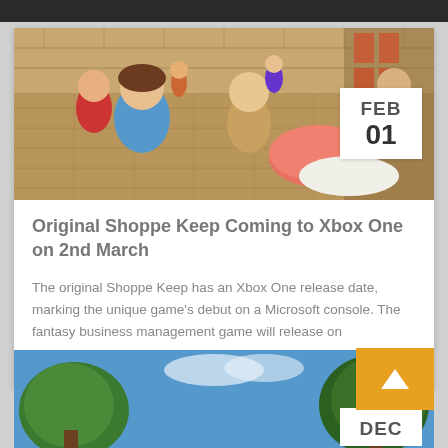[Figure (screenshot): Game screenshot of Shoppe Keep showing cartoon characters in a fantasy marketplace with stone walls and shelves]
Original Shoppe Keep Coming to Xbox One on 2nd March
The original Shoppe Keep has an Xbox One release date, marking the unique game's debut on a Microsoft console. The fantasy business management game will release on
READ MORE »
[Figure (screenshot): Partial game screenshot showing trees against a blue sky background, partially visible at bottom of page]